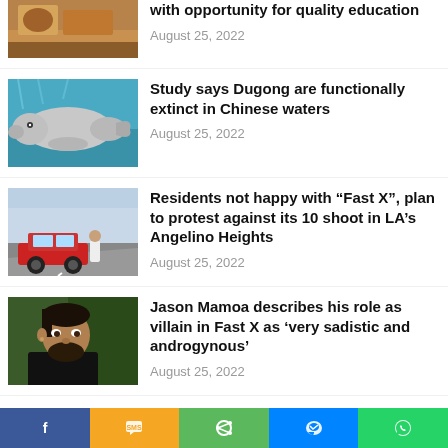[Figure (photo): Partial photo of people at a table, top of page]
with opportunity for quality education
August 25, 2022
[Figure (photo): Dugong swimming underwater]
Study says Dugong are functionally extinct in Chinese waters
August 25, 2022
[Figure (photo): Man standing next to a car on a road]
Residents not happy with “Fast X”, plan to protest against its 10 shoot in LA’s Angelino Heights
August 25, 2022
[Figure (photo): Close-up portrait of Jason Mamoa]
Jason Mamoa describes his role as villain in Fast X as ‘very sadistic and androgynous’
August 25, 2022